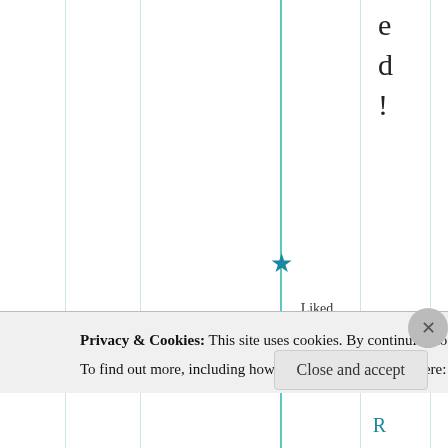ed!
★ Liked by 1 person
Reply
Privacy & Cookies: This site uses cookies. By continuing to use this website, you agree to their use.
To find out more, including how to control cookies, see here: Cookie Policy
Close and accept